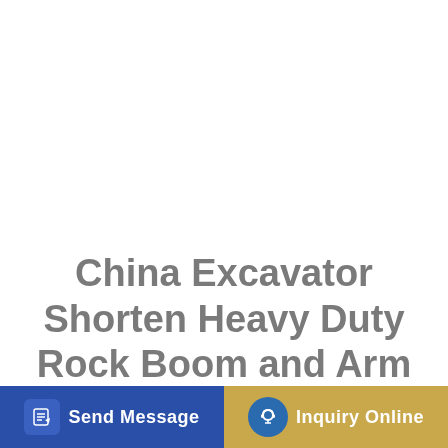China Excavator Shorten Heavy Duty Rock Boom and Arm
[Figure (other): Two UI buttons at the bottom of the page: a blue 'Send Message' button on the left with a document/edit icon, and a tan/gold 'Inquiry Online' button on the right with a headset icon.]